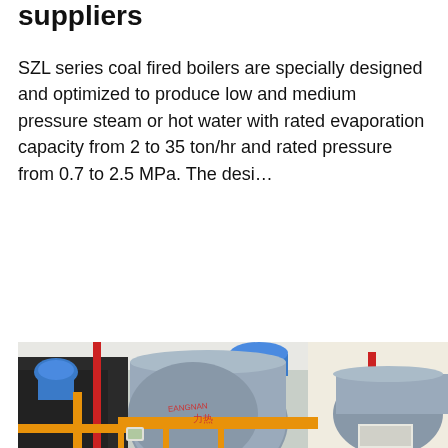suppliers
SZL series coal fired boilers are specially designed and optimized to produce low and medium pressure steam or hot water with rated evaporation capacity from 2 to 35 ton/hr and rated pressure from 0.7 to 2.5 MPa. The desi…
Get Price
[Figure (photo): Industrial boiler room with large cylindrical blue boilers, red and orange piping, and control equipment installed in a factory or industrial facility.]